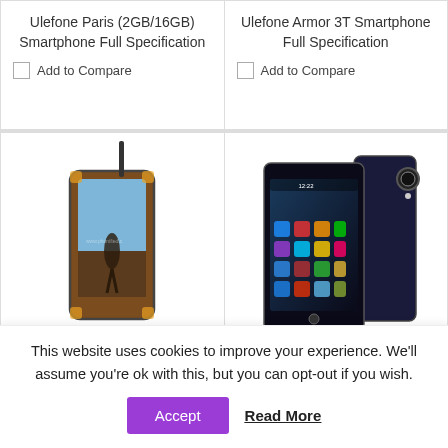Ulefone Paris (2GB/16GB) Smartphone Full Specification
Add to Compare
Ulefone Armor 3T Smartphone Full Specification
Add to Compare
[Figure (photo): Photo of Ulefone Armor 3WT rugged smartphone with antenna]
Ulefone Armor 3WT
[Figure (photo): Photo of ULEFONE BE PRO 2 smartphone showing front and back]
ULEFONE BE PRO 2 Full
This website uses cookies to improve your experience. We'll assume you're ok with this, but you can opt-out if you wish.
Accept
Read More